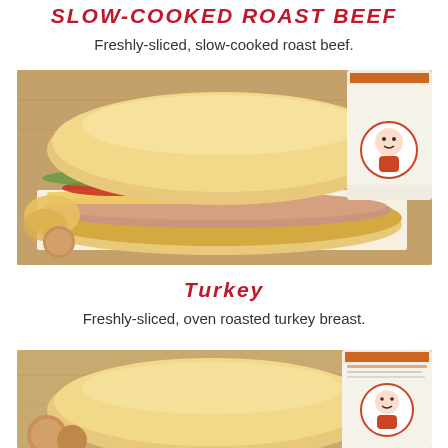Slow-Cooked Roast Beef
Freshly-sliced, slow-cooked roast beef.
[Figure (photo): Photo of a Goodcents sub sandwich loaded with roast beef, lettuce, tomato, onion, and cheese on a hoagie roll, served on Goodcents branded paper with chips and a drink cup visible]
Turkey
Freshly-sliced, oven roasted turkey breast.
[Figure (photo): Partially visible photo of a Goodcents sandwich and drink cup, cropped at bottom of page]